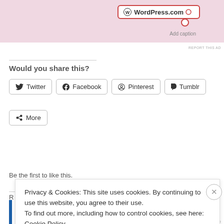[Figure (screenshot): Top portion of a WordPress.com advertisement with pink background, showing a WordPress.com badge and 'Add caption' text]
REPORT THIS AD
Would you share this?
Twitter
Facebook
Pinterest
Tumblr
More
Like
Be the first to like this.
Privacy & Cookies: This site uses cookies. By continuing to use this website, you agree to their use.
To find out more, including how to control cookies, see here: Cookie Policy
Close and accept
REPORT THIS AD